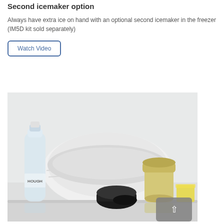Second icemaker option
Always have extra ice on hand with an optional second icemaker in the freezer (IM5D kit sold separately)
Watch Video
[Figure (photo): Interior of a refrigerator showing a TwinChill evaporator cover, a clear water bottle labeled HOUGH, a jar of light-colored contents, a small jar of dark contents, and a glass of yellow liquid, all on refrigerator shelves.]